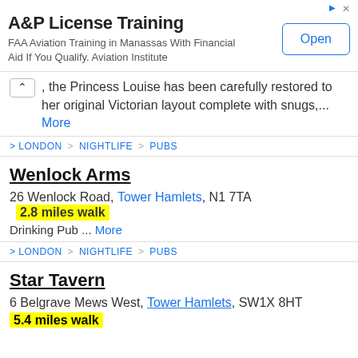[Figure (screenshot): Advertisement banner: A&P License Training - FAA Aviation Training in Manassas With Financial Aid If You Qualify. Aviation Institute. Open button.]
, the Princess Louise has been carefully restored to her original Victorian layout complete with snugs,... More
> LONDON > NIGHTLIFE > PUBS
Wenlock Arms
26 Wenlock Road, Tower Hamlets, N1 7TA  2.8 miles walk
Drinking Pub ... More
> LONDON > NIGHTLIFE > PUBS
Star Tavern
6 Belgrave Mews West, Tower Hamlets, SW1X 8HT
5.4 miles walk